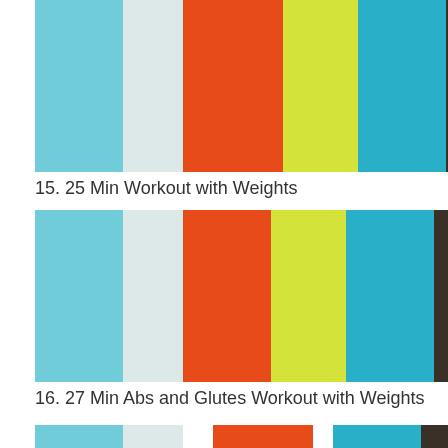[Figure (infographic): Color palette bar chart showing 8 vertical color strips: sky blue, light gray-blue, orange-red, yellow-green, teal/cyan, dark charcoal, dark red-brown, lime green]
15. 25 Min Workout with Weights
[Figure (infographic): Color palette bar chart showing 8 vertical color strips: sky blue, light gray-blue, orange-red, yellow-green, teal/cyan, dark charcoal, dark red-brown, lime green]
16. 27 Min Abs and Glutes Workout with Weights
[Figure (infographic): Partial color palette bar chart at bottom of page showing same color sequence]